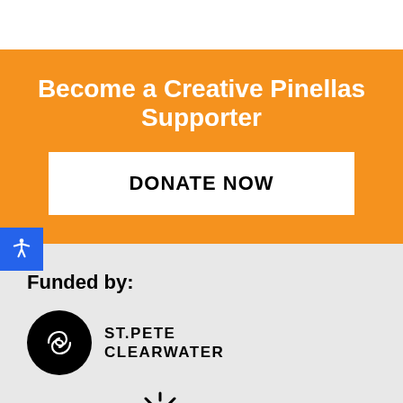Become a Creative Pinellas Supporter
DONATE NOW
Funded by:
[Figure (logo): St. Pete Clearwater logo: black circle with spiral symbol and text ST.PETE CLEARWATER]
[Figure (logo): Pinellas county logo (partially visible at bottom)]